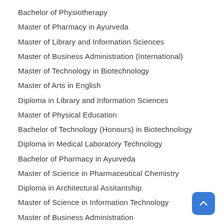Bachelor of Physiotherapy
Master of Pharmacy in Ayurveda
Master of Library and Information Sciences
Master of Business Administration (International)
Master of Technology in Biotechnology
Master of Arts in English
Diploma in Library and Information Sciences
Master of Physical Education
Bachelor of Technology (Honours) in Biotechnology
Diploma in Medical Laboratory Technology
Bachelor of Pharmacy in Ayurveda
Master of Science in Pharmaceutical Chemistry
Diploma in Architectural Assitantship
Master of Science in Information Technology
Master of Business Administration
Master of Philosophy in English
Master of Computer Applications
Master of Business Administration in Tourism and Hospitality